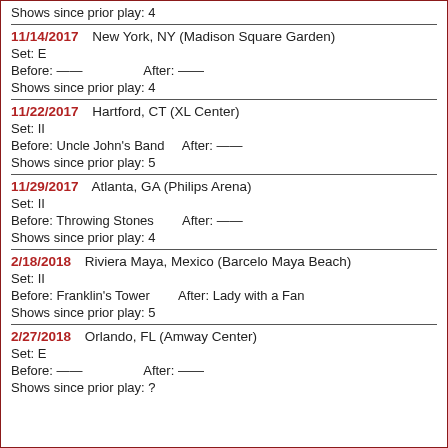Shows since prior play: 4
11/14/2017   New York, NY (Madison Square Garden)
Set: E
Before: ——   After: ——
Shows since prior play: 4
11/22/2017   Hartford, CT (XL Center)
Set: II
Before: Uncle John's Band   After: ——
Shows since prior play: 5
11/29/2017   Atlanta, GA (Philips Arena)
Set: II
Before: Throwing Stones   After: ——
Shows since prior play: 4
2/18/2018   Riviera Maya, Mexico (Barcelo Maya Beach)
Set: II
Before: Franklin's Tower   After: Lady with a Fan
Shows since prior play: 5
2/27/2018   Orlando, FL (Amway Center)
Set: E
Before: ——   After: ——
Shows since prior play: ?